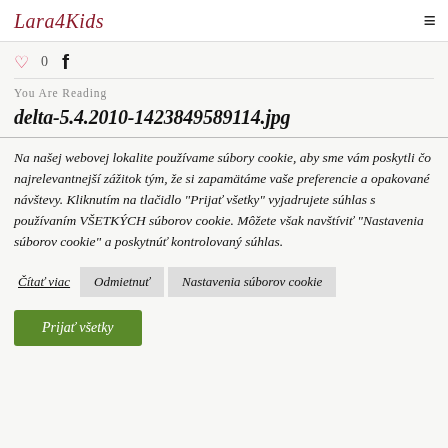Lara4Kids
♡ 0  f
You Are Reading
delta-5.4.2010-1423849589114.jpg
Na našej webovej lokalite používame súbory cookie, aby sme vám poskytli čo najrelevantnejší zážitok tým, že si zapamätáme vaše preferencie a opakované návštevy. Kliknutím na tlačidlo "Prijať všetky" vyjadru­jete súhlas s používaním VŠETKÝCH súborov cookie. Môžete však navštíviť "Nastavenia súborov cookie" a poskytnúť kontrolovaný súhlas.
Čítať viac  Odmietnuť  Nastavenia súborov cookie
Prijať všetky